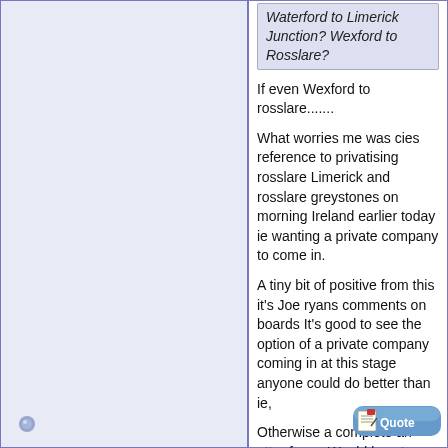Waterford to Limerick Junction? Wexford to Rosslare?
If even Wexford to rosslare.......
What worries me was cies reference to privatising rosslare Limerick and rosslare greystones on morning Ireland earlier today ie wanting a private company to come in.
A tiny bit of positive from this it's Joe ryans comments on boards It's good to see the option of a private company coming in at this stage anyone could do better than ie,
Otherwise a complete an utter farce. Would love to see this being challenged.